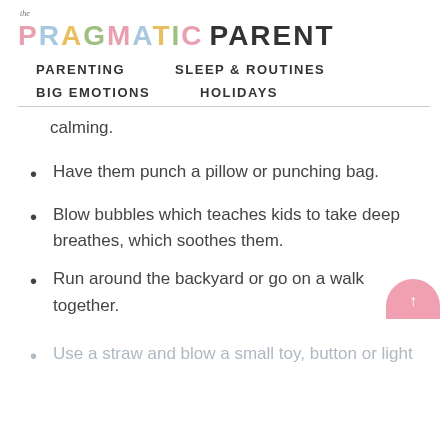The Pragmatic Parent
PARENTING   SLEEP & ROUTINES   BIG EMOTIONS   HOLIDAYS
calming.
Have them punch a pillow or punching bag.
Blow bubbles which teaches kids to take deep breathes, which soothes them.
Run around the backyard or go on a walk together.
Use a straw and blow a small toy, button or light